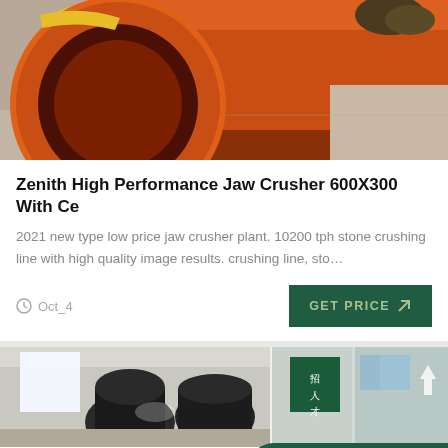[Figure (photo): Orange cylindrical industrial crusher drum/tube viewed from front, showing hollow interior, resting on concrete floor with some plant debris nearby]
Zenith High Performance Jaw Crusher 600X300 With Ce
2021 new type low price jaw crusher plant. 10200 tph stone crushing line with high quality image results. crushing line, sto…
Oct_4
[Figure (photo): Industrial machinery room showing large dark cone crushers or similar heavy equipment in a warehouse/factory setting, with a second panel showing a multi-story building exterior with a sign]
Leave Message
Chat Online